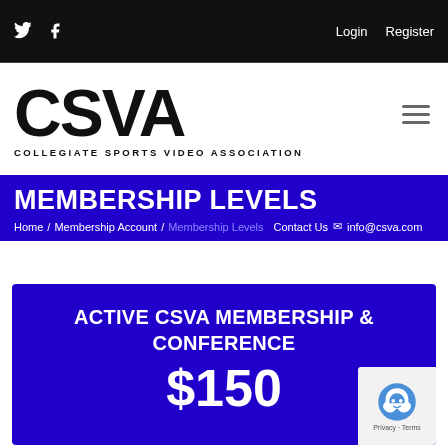Twitter icon, Facebook icon | Login  Register
[Figure (logo): CSVA - Collegiate Sports Video Association logo, large bold black letters CSVA with subtitle text]
MEMBERSHIP LEVELS
Home / Membership Account / Membership Levels  Contact Us  info@csva.com
ACTIVE CSVA MEMBERSHIP & CONFERENCE
$150